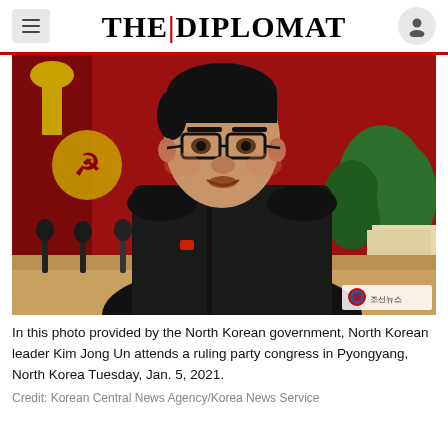THE DIPLOMAT
[Figure (photo): North Korean leader Kim Jong Un speaking at a podium with multiple microphones, wearing a dark jacket with a pin, in front of red background with yellow hammer and sickle emblem and green plants. A Korean news agency watermark appears in the bottom right corner.]
In this photo provided by the North Korean government, North Korean leader Kim Jong Un attends a ruling party congress in Pyongyang, North Korea Tuesday, Jan. 5, 2021.
Credit: Korean Central News Agency/Korea News Service